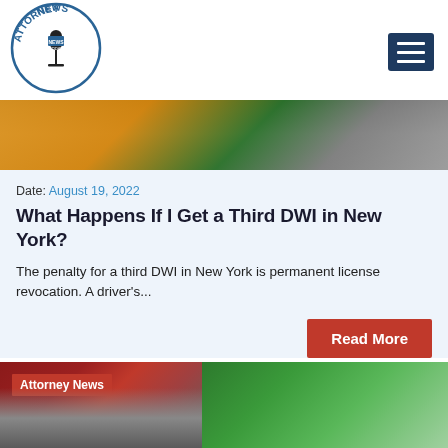[Figure (logo): Attorney News circular logo with microphone and 'NEWS TODAY' badge, blue text around circle]
[Figure (photo): Hamburger/menu icon button, dark navy blue square with three horizontal white lines]
[Figure (photo): Hero image showing handcuffs and keys in orange/green tones]
Date: August 19, 2022
What Happens If I Get a Third DWI in New York?
The penalty for a third DWI in New York is permanent license revocation. A driver's...
Read More
[Figure (photo): Bottom left image with red/dark background showing a lock/padlock with 'Attorney News' red badge overlay]
[Figure (photo): Bottom right image showing green bottles or glass items]